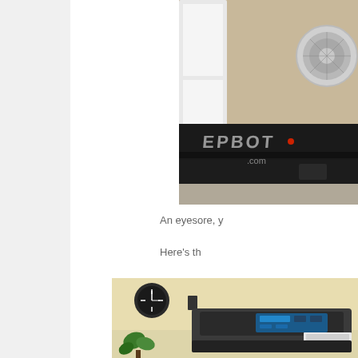[Figure (photo): Close-up photo of a black TV stand or media console on carpet, with a white door and a white fan visible in the background. A watermark reading 'EPBOT.com' is overlaid on the image.]
An eyesore, y
Here's th
[Figure (photo): Photo of a treadmill in a home setting with a clock on the wall, green plant, and a laptop or tablet resting on the treadmill console.]